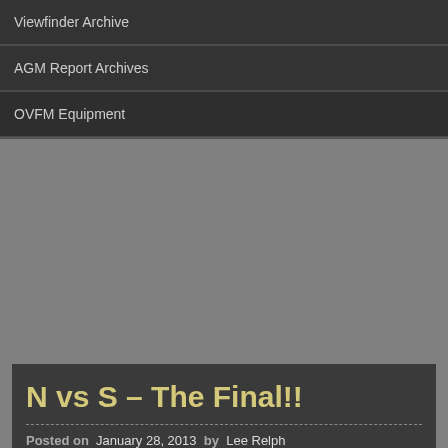Viewfinder Archive
AGM Report Archives
OVFM Equipment
N vs S – The Final!!
Posted on  January 28, 2013  by  Lee Relph